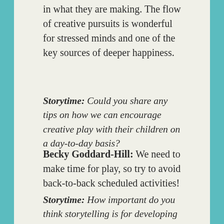in what they are making. The flow of creative pursuits is wonderful for stressed minds and one of the key sources of deeper happiness.
Storytime: Could you share any tips on how we can encourage creative play with their children on a day-to-day basis?
Becky Goddard-Hill: We need to make time for play, so try to avoid back-to-back scheduled activities!
Storytime: How important do you think storytelling is for developing a creative mind in young children?